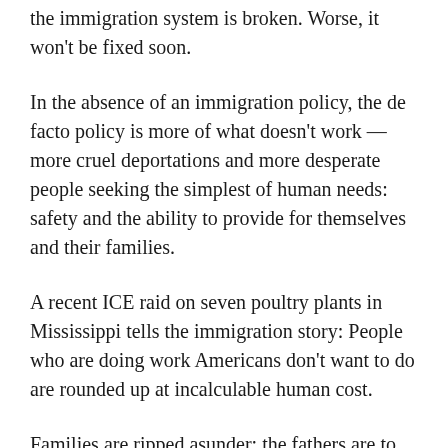the immigration system is broken. Worse, it won't be fixed soon.
In the absence of an immigration policy, the de facto policy is more of what doesn't work — more cruel deportations and more desperate people seeking the simplest of human needs: safety and the ability to provide for themselves and their families.
A recent ICE raid on seven poultry plants in Mississippi tells the immigration story: People who are doing work Americans don't want to do are rounded up at incalculable human cost.
Families are ripped asunder; the fathers are to be shipped to places they scarcely know and where there is nothing for them except penury and likely violent death. One man is headed for Guatemala after 18